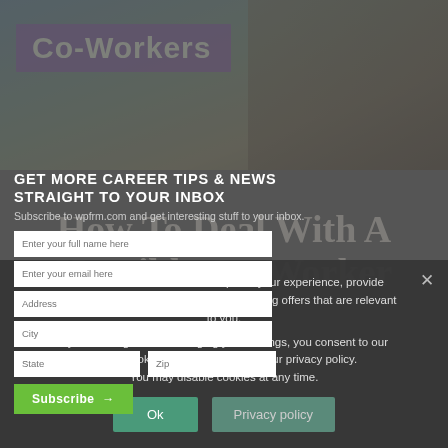[Figure (screenshot): Top image showing 'Co-Workers' text on a purple banner overlaid on a photo background]
GET MORE CAREER TIPS & NEWS STRAIGHT TO YOUR INBOX
Subscribe to wpfrm.com and get interesting stuff to your inbox.
Form fields: Enter your full name here, Enter your email here, Address, City, State, Zip
Subscribe →
How To Deal With A Horrible Co-Worker
This website uses cookies to improve your experience, provide social media features and deliver advertising offers that are relevant to you.
By continuing without changing your settings, you consent to our use of cookies in accordance with our privacy policy. You may disable cookies at any time.
Ok
Privacy policy